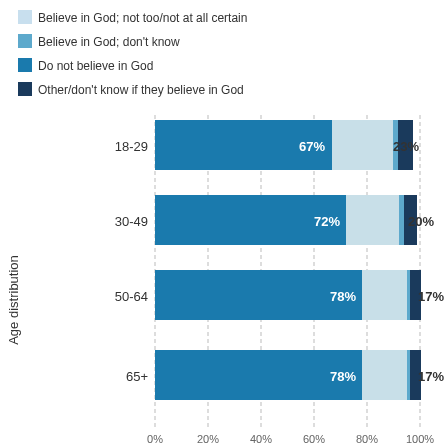[Figure (stacked-bar-chart): Age distribution by belief in God]